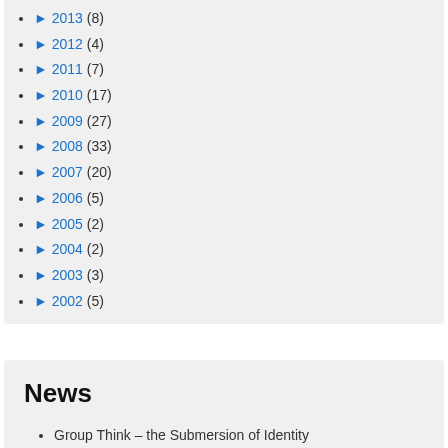► 2013 (8)
► 2012 (4)
► 2011 (7)
► 2010 (17)
► 2009 (27)
► 2008 (33)
► 2007 (20)
► 2006 (5)
► 2005 (2)
► 2004 (2)
► 2003 (3)
► 2002 (5)
News
Group Think – the Submersion of Identity Impending Pointing